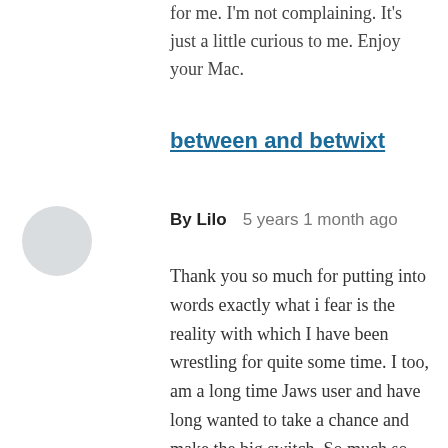for me. I'm not complaining. It's just a little curious to me. Enjoy your Mac.
between and betwixt
By Lilo   5 years 1 month ago
Thank you so much for putting into words exactly what i fear is the reality with which I have been wrestling for quite some time. I too, am a long time Jaws user and have long wanted to take a chance and make the big switch. So much so that i am still running ExP on my windows laptop! I am frozen in time and slowly being frozen out of websites and newer versions of programs etc. It is time to make a decision! However, I am no longer a teenager